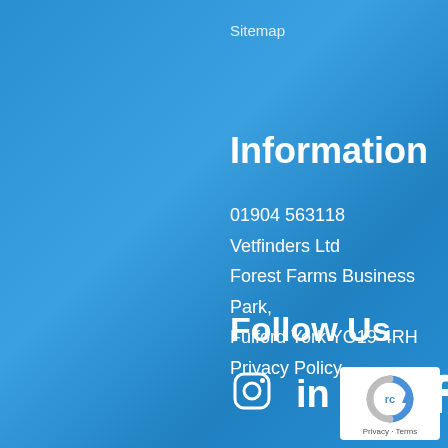Sitemap
Information
01904 563118
Vetfinders Ltd
Forest Farms Business Park,
Fulford York YO19 4RH
Privacy Policy
Follow Us
[Figure (infographic): Social media icons: Instagram, LinkedIn, Twitter, Facebook]
[Figure (logo): reCAPTCHA badge with Privacy and Terms links]